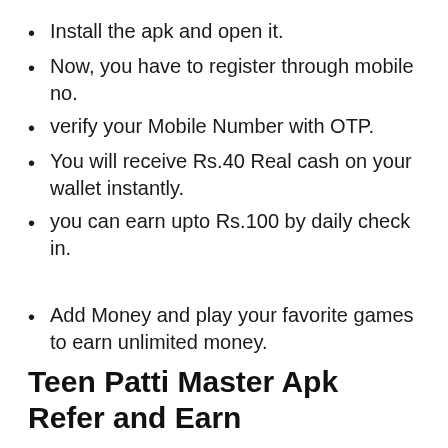Install the apk and open it.
Now, you have to register through mobile no.
verify your Mobile Number with OTP.
You will receive Rs.40 Real cash on your wallet instantly.
you can earn upto Rs.100 by daily check in.
Add Money and play your favorite games to earn unlimited money.
Teen Patti Master Apk Refer and Earn